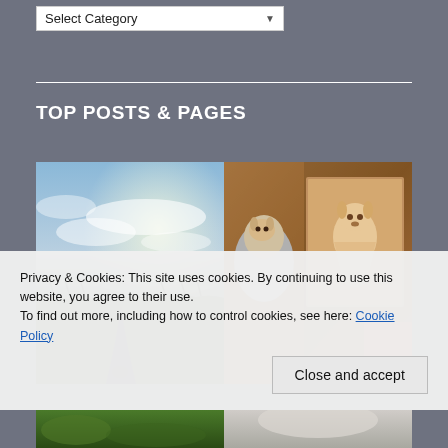Select Category
TOP POSTS & PAGES
[Figure (photo): Outdoor landscape photo showing a sandy path through grasses under a dramatic sky with sunlight breaking through clouds]
[Figure (photo): Two dogs — one being held/groomed, another sitting in a painted portrait or photo — warm orange/brown tones]
Privacy & Cookies: This site uses cookies. By continuing to use this website, you agree to their use.
To find out more, including how to control cookies, see here: Cookie Policy
Close and accept
[Figure (photo): Bottom strip: partial view of two more photos — green foliage on the left, light grey/white animal on the right]